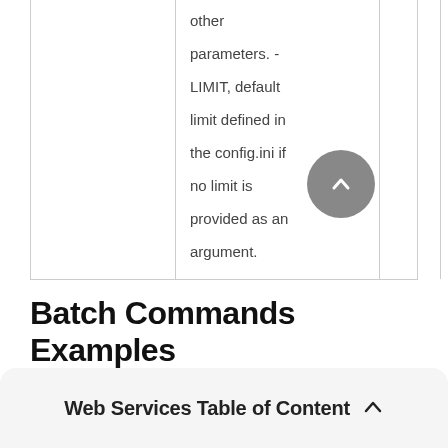|  | other parameters. - LIMIT, default limit defined in the config.ini if no limit is provided as an argument. |  |
Batch Commands Examples
Web Services Table of Content ^